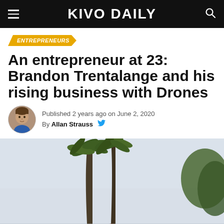KIVO DAILY
ENTREPRENEURS
An entrepreneur at 23: Brandon Trentalange and his rising business with Drones
Published 2 years ago on June 2, 2020
By Allan Strauss
[Figure (photo): Outdoor photo showing tall palm trees against a light grey overcast sky, with some green foliage on the right side. A person is partially visible at the bottom center of the frame.]